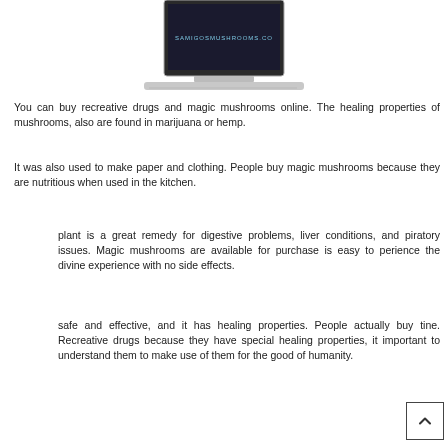[Figure (screenshot): Laptop computer showing a dark screen with text 'SAMIGOSMUSHROOMS.CO']
You can buy recreative drugs and magic mushrooms online. The healing properties of mushrooms, also are found in marijuana or hemp.
It was also used to make paper and clothing. People buy magic mushrooms because they are nutritious when used in the kitchen.
[Figure (logo): Facebook social share icon (blue circle with 'f')]
[Figure (logo): Google Plus social share icon (red circle with 'g+')]
[Figure (logo): Twitter social share icon (blue circle with bird)]
[Figure (logo): Add/plus social share icon (dark circle with '+')]
plant is a great remedy for digestive problems, liver conditions, and piratory issues. Magic mushrooms are available for purchase is easy to perience the divine experience with no side effects.
safe and effective, and it has healing properties. People actually buy tine. Recreative drugs because they have special healing properties, it important to understand them to make use of them for the good of humanity.